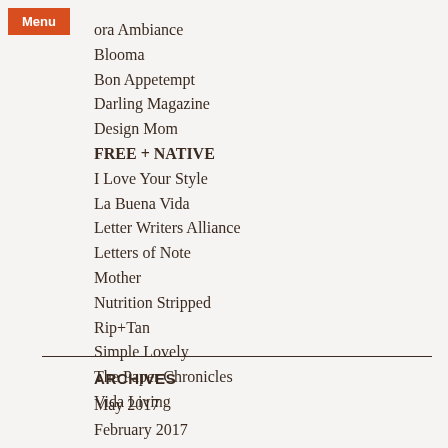ora Ambiance
Blooma
Bon Appetempt
Darling Magazine
Design Mom
FREE + NATIVE
I Love Your Style
La Buena Vida
Letter Writers Alliance
Letters of Note
Mother
Nutrition Stripped
Rip+Tan
Simple Lovely
The Paper Chronicles
Vida Living
ARCHIVES
May 2017
February 2017
October 2016